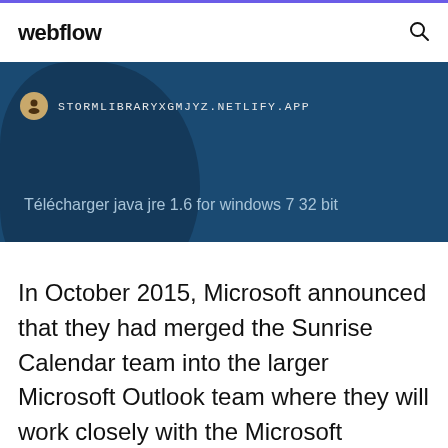webflow
[Figure (screenshot): Browser address bar showing STORMLIBRARYXGMJYZ.NETLIFY.APP with a dark blue map background. Text reads: Télécharger java jre 1.6 for windows 7 32 bit]
In October 2015, Microsoft announced that they had merged the Sunrise Calendar team into the larger Microsoft Outlook team where they will work closely with the Microsoft Outlook Mobile service. By importing a snapshot of your Google calendar into Outlook,